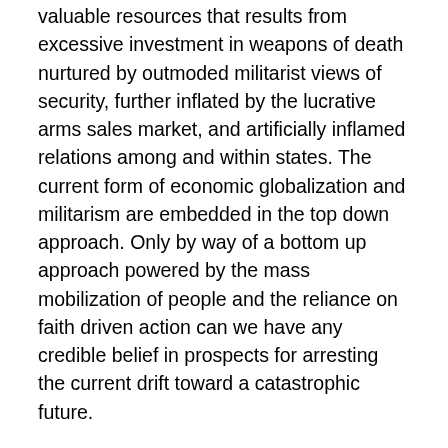valuable resources that results from excessive investment in weapons of death nurtured by outmoded militarist views of security, further inflated by the lucrative arms sales market, and artificially inflamed relations among and within states. The current form of economic globalization and militarism are embedded in the top down approach. Only by way of a bottom up approach powered by the mass mobilization of people and the reliance on faith driven action can we have any credible belief in prospects for arresting the current drift toward a catastrophic future.
And finally, advocating such a posture of resistance involves a correspondingly radical understanding of citizenship and political participation. From my perspective, 'world citizens,' although escaping from the traps of conventional wisdom, that it is possible that